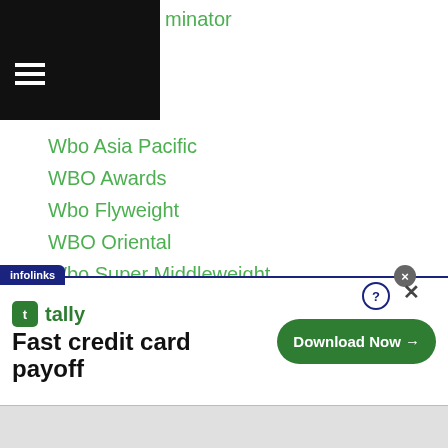minator
Wbo Asia Pacific
WBO Awards
Wbo Flyweight
WBO Oriental
Wbo Super Middleweight
WBS
WBSS
Weigh In
Wei Qian Xian
Welly Koto
Wenfeng Ge
Widya Renyaan
t Berondo
[Figure (screenshot): Infolinks advertisement banner for Tally app with text 'Fast credit card payoff' and a 'Download Now' button]